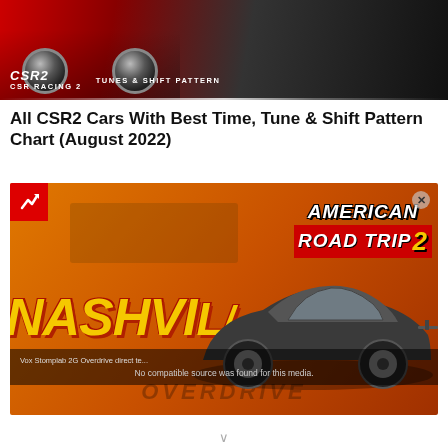[Figure (screenshot): CSR Racing 2 header banner image showing a red sports car with CSR RACING 2 and TUNES & SHIFT PATTERN text overlay]
All CSR2 Cars With Best Time, Tune & Shift Pattern Chart (August 2022)
[Figure (screenshot): American Road Trip 2 Nashville event promotional image with dark sports car, orange background, trending badge, and video overlay showing 'No compatible source was found for this media']